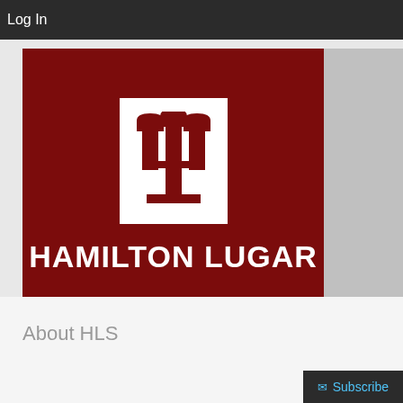Log In
[Figure (logo): Indiana University Hamilton Lugar School logo on dark red background with IU trident torch symbol in white box and text HAMILTON LUGAR in white bold letters]
About HLS
Subscribe